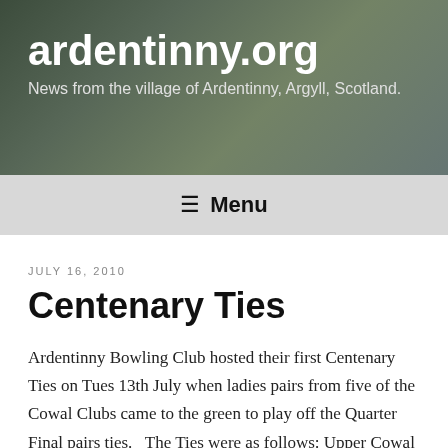ardentinny.org
News from the village of Ardentinny, Argyll, Scotland.
≡ Menu
JULY 16, 2010
Centenary Ties
Ardentinny Bowling Club hosted their first Centenary Ties on Tues 13th July when ladies pairs from five of the Cowal Clubs came to the green to play off the Quarter Final pairs ties.   The Ties were as follows: Upper Cowal B versus Bogleh'a B Kirn & Hunters Quay B versus Dunoon Argyll B Bogleh'a ...